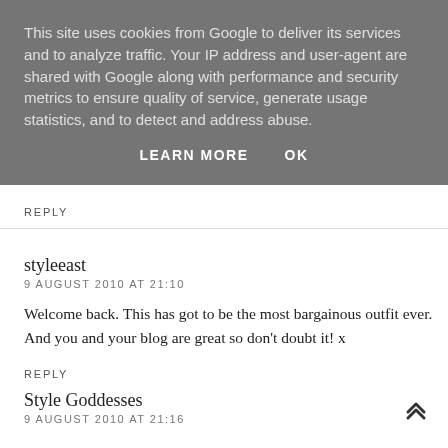This site uses cookies from Google to deliver its services and to analyze traffic. Your IP address and user-agent are shared with Google along with performance and security metrics to ensure quality of service, generate usage statistics, and to detect and address abuse.
LEARN MORE    OK
REPLY
styleeast
9 AUGUST 2010 AT 21:10
Welcome back. This has got to be the most bargainous outfit ever. And you and your blog are great so don't doubt it! x
REPLY
Style Goddesses
9 AUGUST 2010 AT 21:16